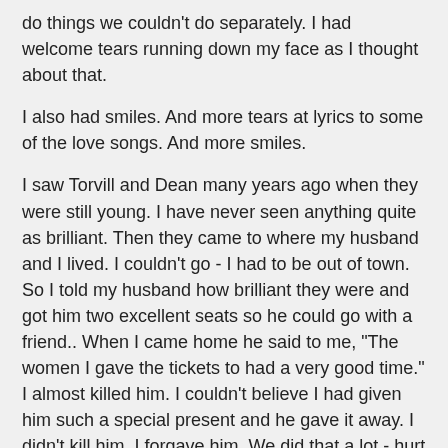do things we couldn't do separately.  I had welcome tears running down my face as I thought about that.
I also had smiles.  And more tears at lyrics to some of the love songs.  And more smiles.
I saw Torvill and Dean many years ago when they were still young.  I have never seen anything quite as brilliant.  Then they came to where my husband and I lived.  I couldn't go -  I had to be out of town.  So I told my husband how brilliant they were and got him two excellent seats so he could go with a friend..  When I came home he said to me, "The women I gave the tickets to had a very good time."  I almost killed him.  I couldn't believe I had given him such a special present and he gave it away.  I didn't kill him.  I forgave him.  We did that a lot - hurt each other, disappointed each other, forgave each other.  The love lasted through everything.
Torvill and Dean are now each close to 60.  They don't ice dance like they did when they were young.  They don't do Bolero like they did when they were young.  But they are willing to do it imperfectly - as they can now - for themselves